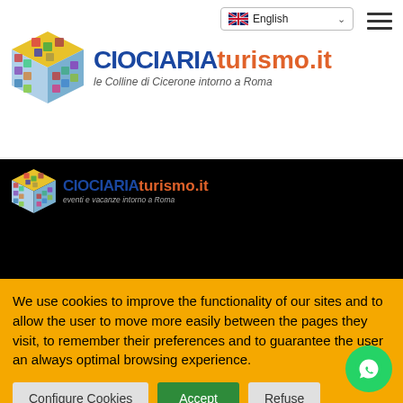English (language selector)
[Figure (logo): CIOCIARIAturismo.it logo with colorful cube icon and tagline 'le Colline di Cicerone intorno a Roma']
[Figure (logo): CIOCIARIAturismo.it logo on black background with tagline 'eventi e vacanze intorno a Roma']
FOR INFORMATION:
Ciociariaturismo
We use cookies to improve the functionality of our sites and to allow the user to move more easily between the pages they visit, to remember their preferences and to guarantee the user an always optimal browsing experience.